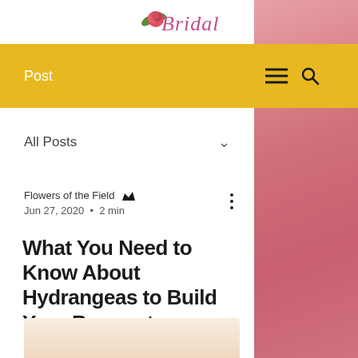Bridal (logo with rose icon)
Post
All Posts
Flowers of the Field  Jun 27, 2020  •  2 min
What You Need to Know About Hydrangeas to Build Your Bouquet
[Figure (photo): Blurred pink floral background visible on right side and bottom strip]